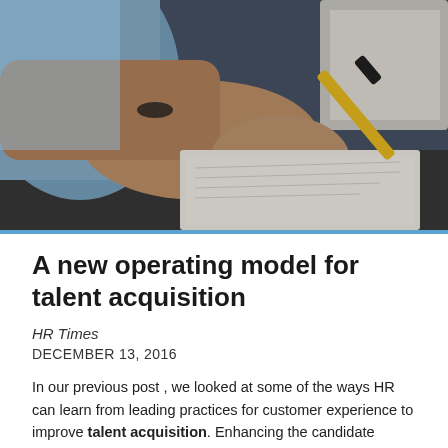[Figure (photo): Close-up photograph of a person's hands holding a yellow and black pen, writing on a notepad on a dark desk surface. The person is wearing a blue shirt and a dark bracelet.]
A new operating model for talent acquisition
HR Times
DECEMBER 13, 2016
In our previous post , we looked at some of the ways HR can learn from leading practices for customer experience to improve talent acquisition. Enhancing the candidate